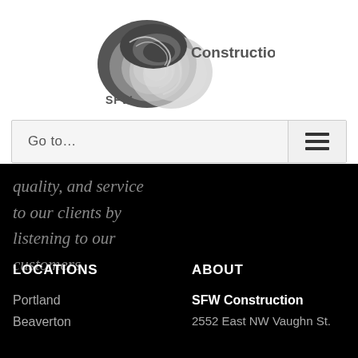[Figure (logo): SFW Construction logo with spiral shell graphic in dark grey and light grey, text reads SFW Construction]
Go to...
quality, and service to our clients by listening to our customers.
LOCATIONS
ABOUT
Portland
Beaverton
SFW Construction
2552 East NW Vaughn St.